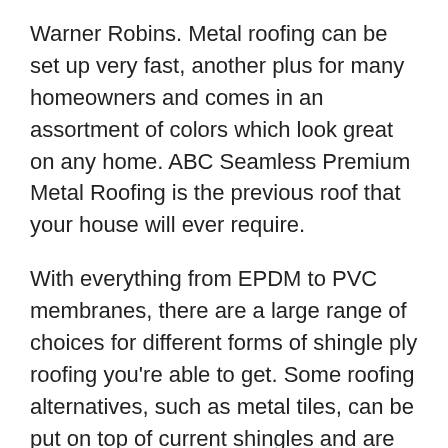Warner Robins. Metal roofing can be set up very fast, another plus for many homeowners and comes in an assortment of colors which look great on any home. ABC Seamless Premium Metal Roofing is the previous roof that your house will ever require.
With everything from EPDM to PVC membranes, there are a large range of choices for different forms of shingle ply roofing you're able to get. Some roofing alternatives, such as metal tiles, can be put on top of current shingles and are simple enough to install that a single contractor can execute the task efficiently. Our roofing methods incorporate a seamless gutter system that's properly designed, fabricated and installed to supply the essential capacity to deal with nearly every quantity of runoff. Any roofing system needs to be recognized as a membrane that was made to be self-sustaining, but that can be readily damaged by intrusions like pedestrian traffic or fallen tree branches